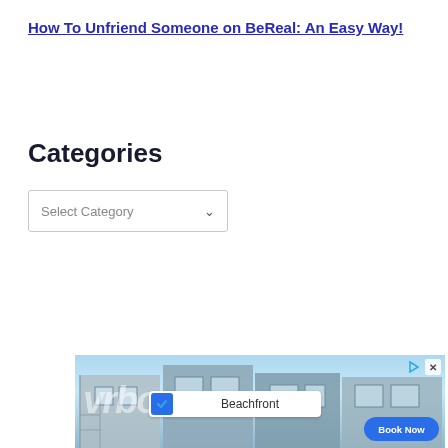How To Unfriend Someone on BeReal: An Easy Way!
Categories
[Figure (screenshot): A dropdown UI element labeled 'Select Category' with a down-arrow chevron, inside a bordered rectangle]
[Figure (photo): Advertisement banner for VRBO showing a beachfront house, with a Beachfront filter checkbox checked and a 'Book Now' button. Play and close icons in top right.]